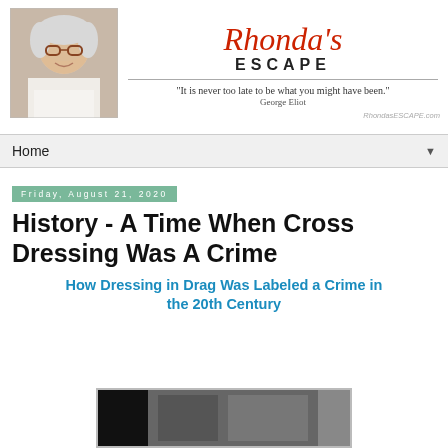[Figure (photo): Headshot photo of a woman with white/gray hair and glasses, smiling]
Rhonda's ESCAPE
"It is never too late to be what you might have been." George Eliot
RhondasESCAPE.com
Home
Friday, August 21, 2020
History - A Time When Cross Dressing Was A Crime
How Dressing in Drag Was Labeled a Crime in the 20th Century
[Figure (photo): Black and white historical photograph, partially visible at bottom of page]